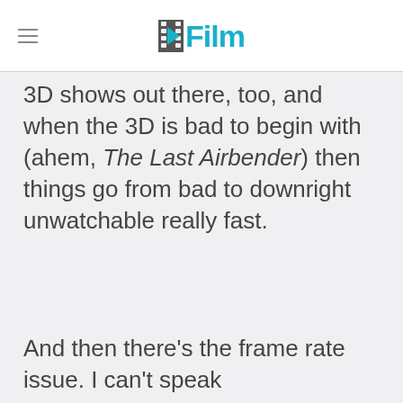/Film
3D shows out there, too, and when the 3D is bad to begin with (ahem, The Last Airbender) then things go from bad to downright unwatchable really fast.
And then there's the frame rate issue. I can't speak